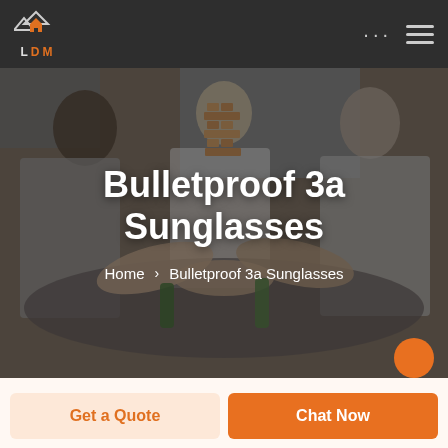LDM logo with navigation
[Figure (photo): Group of people playing Jenga board game, sitting around a table with hands reaching toward wooden block tower, with green bottles visible]
Bulletproof 3a Sunglasses
Home > Bulletproof 3a Sunglasses
Get a Quote   Chat Now